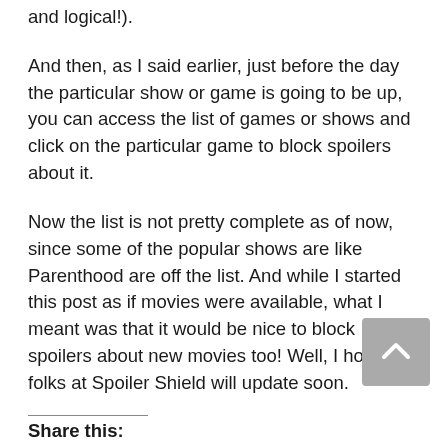and logical!).
And then, as I said earlier, just before the day the particular show or game is going to be up, you can access the list of games or shows and click on the particular game to block spoilers about it.
Now the list is not pretty complete as of now, since some of the popular shows are like Parenthood are off the list. And while I started this post as if movies were available, what I meant was that it would be nice to block spoilers about new movies too! Well, I hope the folks at Spoiler Shield will update soon.
Share this: